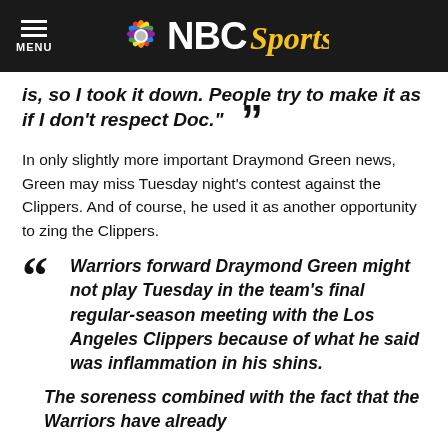NBC Sports
is, so I took it down. People try to make it as if I don't respect Doc."
In only slightly more important Draymond Green news, Green may miss Tuesday night's contest against the Clippers. And of course, he used it as another opportunity to zing the Clippers.
Warriors forward Draymond Green might not play Tuesday in the team's final regular-season meeting with the Los Angeles Clippers because of what he said was inflammation in his shins. The soreness combined with the fact that the Warriors have already